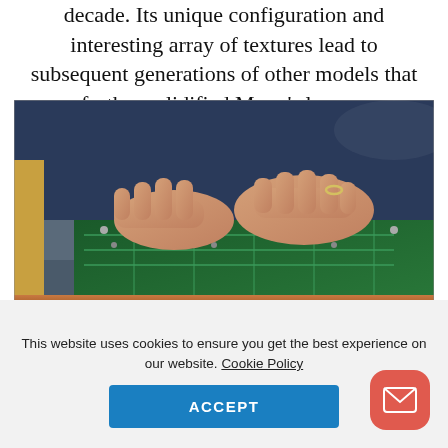decade. Its unique configuration and interesting array of textures lead to subsequent generations of other models that further solidified Moog's legacy.
[Figure (photo): Close-up photo of hands working on the interior of a Moog synthesizer, showing green circuit boards, wooden side panel, and knobs/controls on the front panel.]
This website uses cookies to ensure you get the best experience on our website. Cookie Policy
ACCEPT